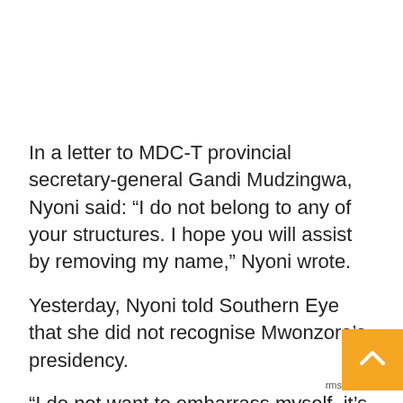In a letter to MDC-T provincial secretary-general Gandi Mudzingwa, Nyoni said: “I do not belong to any of your structures. I hope you will assist by removing my name,” Nyoni wrote.
Yesterday, Nyoni told Southern Eye that she did not recognise Mwonzora’s presidency.
“I do not want to embarrass myself, it’s better to continue with my work in council than to get t votes. I cannot stand for Mwonzora. They do r know me and I have never attended any of their